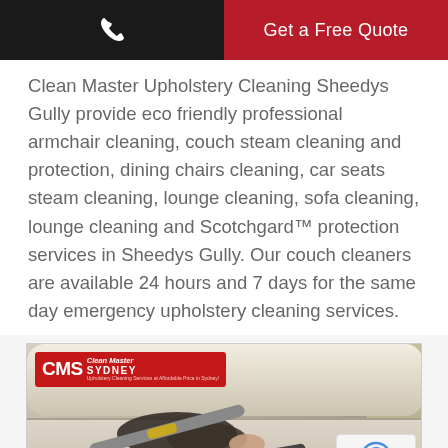Get a Free Quote
Clean Master Upholstery Cleaning Sheedys Gully provide eco friendly professional armchair cleaning, couch steam cleaning and protection, dining chairs cleaning, car seats steam cleaning, lounge cleaning, sofa cleaning, lounge cleaning and Scotchgard™ protection services in Sheedys Gully. Our couch cleaners are available 24 hours and 7 days for the same day emergency upholstery cleaning services.
[Figure (photo): Person using a steam cleaning tool on a white/cream upholstered sofa/couch. A CMS Clean Master Sydney logo badge is visible in the top-left corner of the image.]